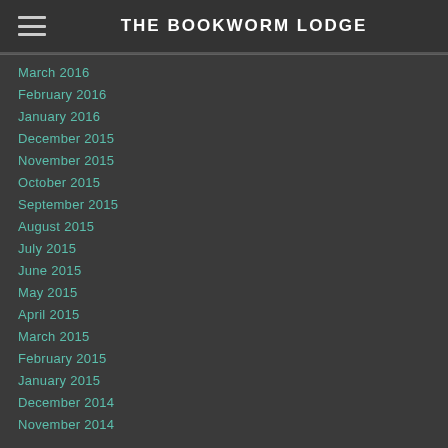THE BOOKWORM LODGE
March 2016
February 2016
January 2016
December 2015
November 2015
October 2015
September 2015
August 2015
July 2015
June 2015
May 2015
April 2015
March 2015
February 2015
January 2015
December 2014
November 2014